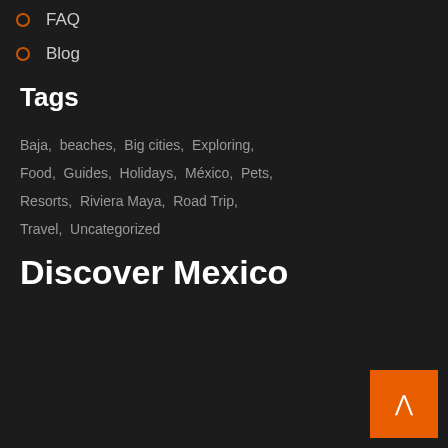FAQ
Blog
Tags
Baja,  beaches,  Big cities,  Exploring,  Food,  Guides,  Holidays,  México,  Pets,  Resorts,  Riviera Maya,  Road Trip,  Travel,  Uncategorized
Discover Mexico